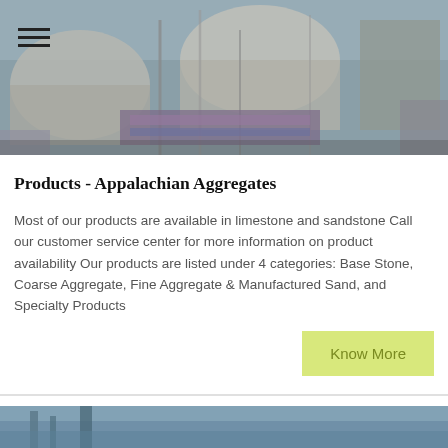[Figure (photo): Industrial aggregate/quarry equipment photo — large cylindrical tanks and pipes, grayscale-toned industrial machinery]
Products - Appalachian Aggregates
Most of our products are available in limestone and sandstone Call our customer service center for more information on product availability Our products are listed under 4 categories: Base Stone, Coarse Aggregate, Fine Aggregate & Manufactured Sand, and Specialty Products
Know More
[Figure (photo): Partial view of another industrial/quarry photo at bottom of page]